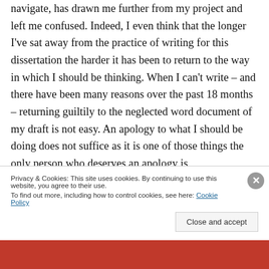navigate, has drawn me further from my project and left me confused. Indeed, I even think that the longer I've sat away from the practice of writing for this dissertation the harder it has been to return to the way in which I should be thinking. When I can't write – and there have been many reasons over the past 18 months – returning guiltily to the neglected word document of my draft is not easy. An apology to what I should be doing does not suffice as it is one of those things the only person who deserves an apology is
Privacy & Cookies: This site uses cookies. By continuing to use this website, you agree to their use.
To find out more, including how to control cookies, see here: Cookie Policy